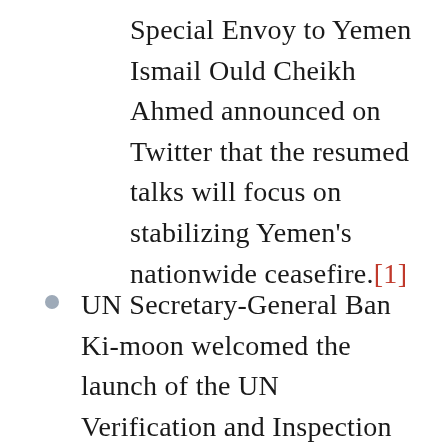Special Envoy to Yemen Ismail Ould Cheikh Ahmed announced on Twitter that the resumed talks will focus on stabilizing Yemen's nationwide ceasefire.[1]
UN Secretary-General Ban Ki-moon welcomed the launch of the UN Verification and Inspection Mechanism (UNVIM) based in